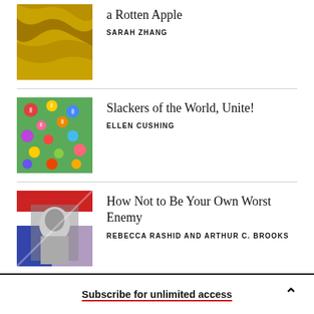[Figure (illustration): Gold/yellow textured abstract image, thumbnail for article about a Rotten Apple]
a Rotten Apple
SARAH ZHANG
[Figure (illustration): Colorful floral/abstract pattern with small figures, thumbnail for Slackers of the World, Unite!]
Slackers of the World, Unite!
ELLEN CUSHING
[Figure (illustration): Collage image with red/white/blue stripes and black and white portrait, thumbnail for How Not to Be Your Own Worst Enemy]
How Not to Be Your Own Worst Enemy
REBECCA RASHID AND ARTHUR C. BROOKS
Subscribe for unlimited access